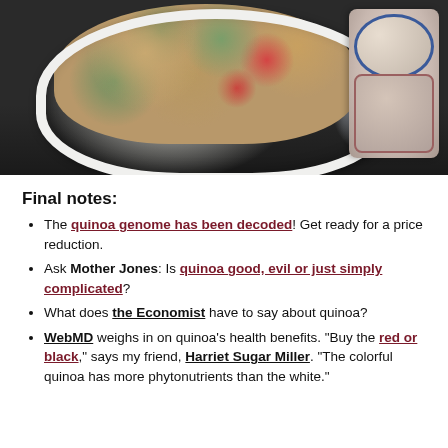[Figure (photo): A white ceramic casserole dish filled with cooked quinoa mixed with colorful vegetables (red peppers, greens), with decorative stacked bowls in the background on a dark surface.]
Final notes:
The quinoa genome has been decoded! Get ready for a price reduction.
Ask Mother Jones: Is quinoa good, evil or just simply complicated?
What does the Economist have to say about quinoa?
WebMD weighs in on quinoa's health benefits. "Buy the red or black," says my friend, Harriet Sugar Miller. "The colorful quinoa has more phytonutrients than the white."